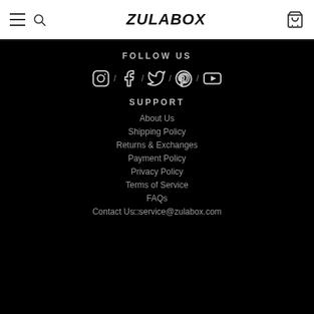ZULABOX navigation header with menu, search, logo, and cart
FOLLOW US
[Figure (other): Social media icons row: Instagram, Facebook, Twitter, Pinterest, YouTube separated by / dividers]
SUPPORT
About Us
Shipping Policy
Returns & Exchanges
Payment Policy
Privacy Policy
Terms of Service
FAQs
Contact Us□service@zulabox.com